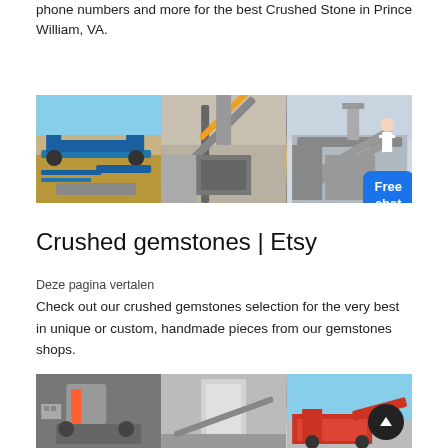phone numbers and more for the best Crushed Stone in Prince William, VA.
[Figure (photo): Three panel image strip showing stone crushing machinery and equipment at quarry sites, with a 'Free chat' button overlay]
Crushed gemstones | Etsy
Deze pagina vertalen
Check out our crushed gemstones selection for the very best in unique or custom, handmade pieces from our gemstones shops.
[Figure (photo): Three panel image strip showing quarry and stone crushing operations with heavy machinery, with a scroll-to-top button overlay]